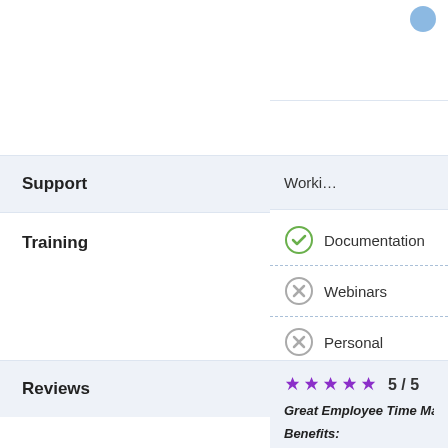Support
Working
Training
Documentation
Webinars
Personal
Online
Reviews
5 / 5
Great Employee Time Mana…
Benefits: